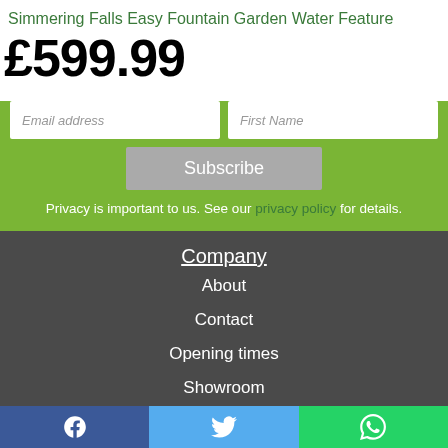Simmering Falls Easy Fountain Garden Water Feature
£599.99
Email address | First Name
Subscribe
Privacy is important to us. See our privacy policy for details.
Company
About
Contact
Opening times
Showroom
Delivery
UK Standard Delivery
Next / Named Day
f  twitter  whatsapp